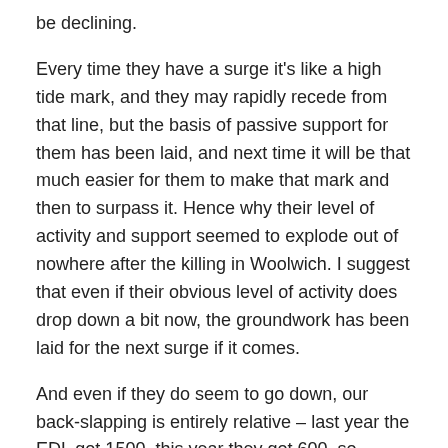be declining.
Every time they have a surge it's like a high tide mark, and they may rapidly recede from that line, but the basis of passive support for them has been laid, and next time it will be that much easier for them to make that mark and then to surpass it. Hence why their level of activity and support seemed to explode out of nowhere after the killing in Woolwich. I suggest that even if their obvious level of activity does drop down a bit now, the groundwork has been laid for the next surge if it comes.
And even if they do seem to go down, our back-slapping is entirely relative – last year the EDL got 1500, this year they got 600, so hooray. But 5 years ago nasty mobs of racists marching down the street didn't exist. So what is there to celebrate?